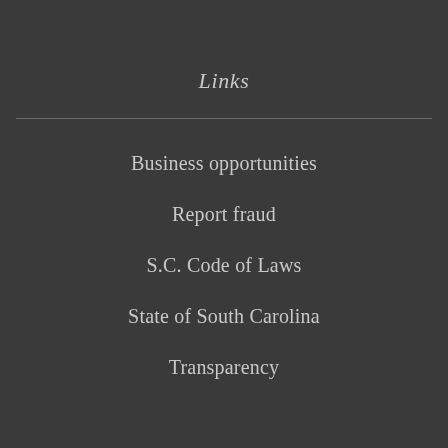Links
Business opportunities
Report fraud
S.C. Code of Laws
State of South Carolina
Transparency